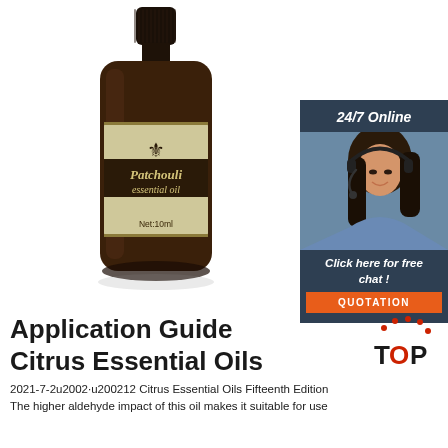[Figure (photo): A dark amber glass bottle of Patchouli essential oil (10ml) with a black cap and a cream/beige label featuring a fleur-de-lis emblem and the text 'Patchouli essential oil Net:10ml']
[Figure (infographic): Dark navy blue side banner with '24/7 Online' text at top, a photo of a smiling woman wearing a headset, and a bottom section with italic text 'Click here for free chat!' and an orange button labeled 'QUOTATION']
Application Guide Citrus Essential Oils
[Figure (logo): Red and black 'TOP' logo with dots arranged in a circular pattern above the word TOP]
2021-7-2u2002·u200212 Citrus Essential Oils Fifteenth Edition The higher aldehyde impact of this oil makes it suitable for use